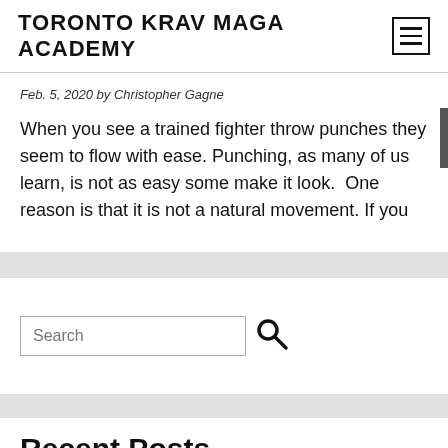TORONTO KRAV MAGA ACADEMY
Feb. 5, 2020 by Christopher Gagne
When you see a trained fighter throw punches they seem to flow with ease. Punching, as many of us learn, is not as easy some make it look.  One reason is that it is not a natural movement. If you
Search
Recent Posts